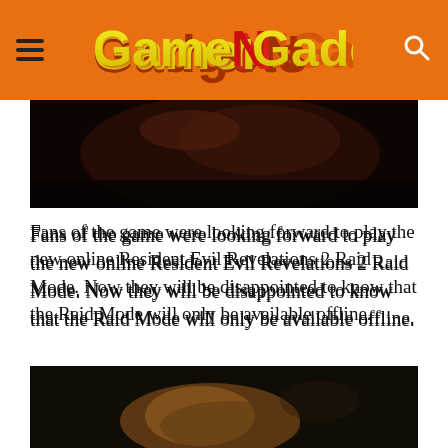GamerNGadgets
[Figure (photo): Dark screenshot from Resident Evil Revelations 2, showing a dimly lit scene with reddish-brown tones]
Fans of the game were looking forward to play the new online Resident Evil Revelations 2 Raid Mode. Now they will be disappointed to know that the Raid Mode will only be available offline.
The online version of the Resident Evil Revelations 2 Raid Mode will not unfortunately unable until after all of the episodes within the series have been released on physical disks during March 2015.
[Figure (photo): Screenshot from Resident Evil Revelations 2 showing a creature/monster in a dark environment with dramatic lighting]